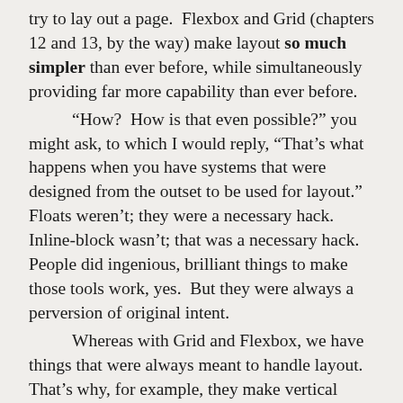try to lay out a page. Flexbox and Grid (chapters 12 and 13, by the way) make layout so much simpler than ever before, while simultaneously providing far more capability than ever before.

“How? How is that even possible?” you might ask, to which I would reply, “That’s what happens when you have systems that were designed from the outset to be used for layout.” Floats weren’t; they were a necessary hack. Inline-block wasn’t; that was a necessary hack. People did ingenious, brilliant things to make those tools work, yes. But they were always a perversion of original intent.

Whereas with Grid and Flexbox, we have things that were always meant to handle layout. That’s why, for example, they make vertical centering of elements a breeze. A breeze, people. I’ve been working with the new stuff long enough that I literally forget vertical centering is supposed to be difficult. I have similar amnesia about the struggle to balance layout needs with accessible source order. These problems are not 100% banished, but it’s to the point now that when I do run into these problems, it’s a surprise, and almost a personal affront. Like